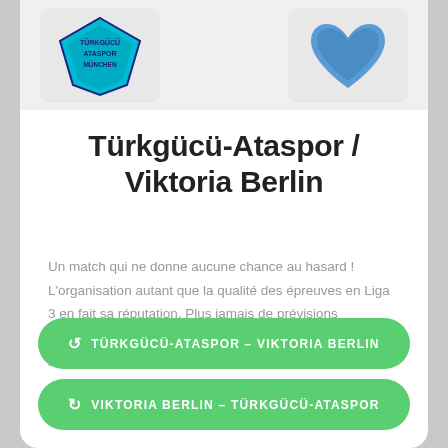[Figure (logo): Türkgücü-Ataspor München club logo (teal/cyan diamond shield) and Viktoria Berlin club logo (blue heart-shaped crest), shown side by side at top of card]
Türkgücü-Ataspor / Viktoria Berlin
Un match qui ne donne aucune chance au hasard ! L'organisation autant que la qualité des épreuves en Liga 3 en fait sa réputation. Plus jamais de prévisions perdantes . Obtenez simplement et en direct à LA statistique qui fera la distinction.
↺  TÜRKGÜCÜ-ATASPOR – VIKTORIA BERLIN
↻  VIKTORIA BERLIN – TÜRKGÜCÜ-ATASPOR